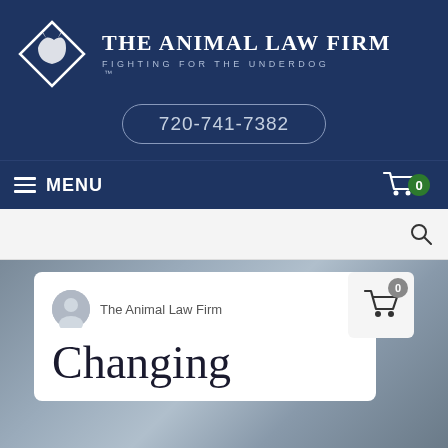[Figure (logo): The Animal Law Firm logo — white diamond shape with wolf/dog silhouette inside, on dark navy background, with firm name and tagline]
THE ANIMAL LAW FIRM
FIGHTING FOR THE UNDERDOG
720-741-7382
≡ MENU   🛒 0
The Animal Law Firm
Changing